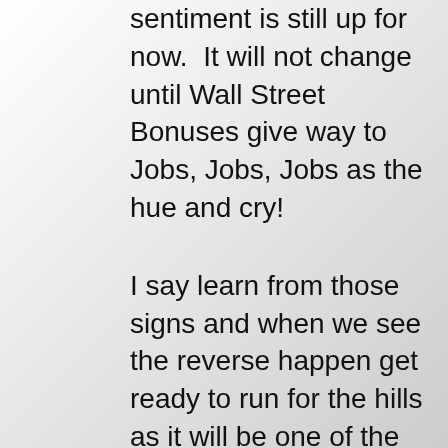sentiment is still up for now.  It will not change until Wall Street Bonuses give way to Jobs, Jobs, Jobs as the hue and cry!
I say learn from those signs and when we see the reverse happen get ready to run for the hills as it will be one of the earliest clues we will see that things have reversed and that the Bulls have no further answer up their sleeve to thwart a Bear assault.  But